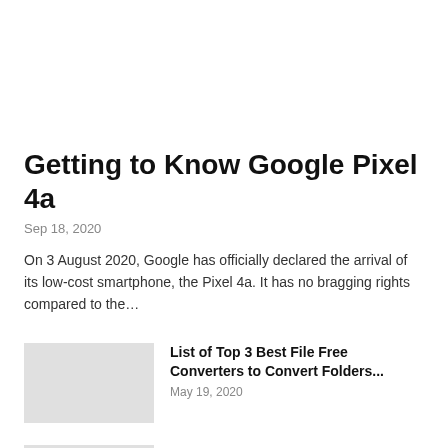Getting to Know Google Pixel 4a
Sep 18, 2020
On 3 August 2020, Google has officially declared the arrival of its low-cost smartphone, the Pixel 4a. It has no bragging rights compared to the…
List of Top 3 Best File Free Converters to Convert Folders...
May 19, 2020
Samsung Galaxy C9 Pro: If You're Looking for a Bigger Screen...
Mar 19, 2017